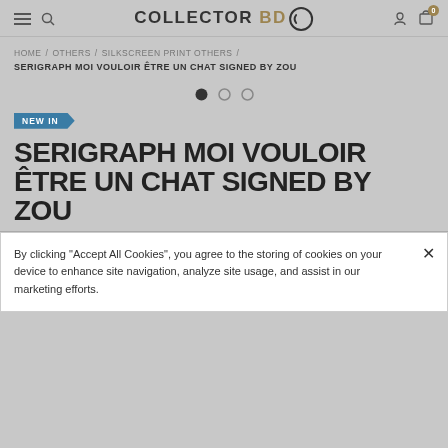COLLECTOR BD — navigation header with hamburger menu, search, logo, user icon, cart (0)
HOME / OTHERS / SILKSCREEN PRINT OTHERS / SERIGRAPH MOI VOULOIR ÊTRE UN CHAT SIGNED BY ZOU
[Figure (other): Three pagination dots: first filled black, second and third outlined circles]
NEW IN
SERIGRAPH MOI VOULOIR ÊTRE UN CHAT SIGNED BY ZOU
By clicking "Accept All Cookies", you agree to the storing of cookies on your device to enhance site navigation, analyze site usage, and assist in our marketing efforts.